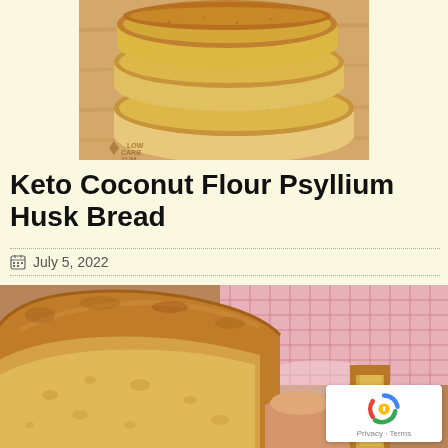[Figure (photo): Sliced keto bread displayed on a wooden cutting board, with a 'Low Carb Yum' watermark visible in the lower-left corner]
Keto Coconut Flour Psyllium Husk Bread
July 5, 2022
[Figure (photo): Close-up of a loaf of keto coconut flour psyllium husk bread, with a pink checkered cloth in the background and sliced bread visible on the right. A reCAPTCHA badge appears in the lower-right corner.]